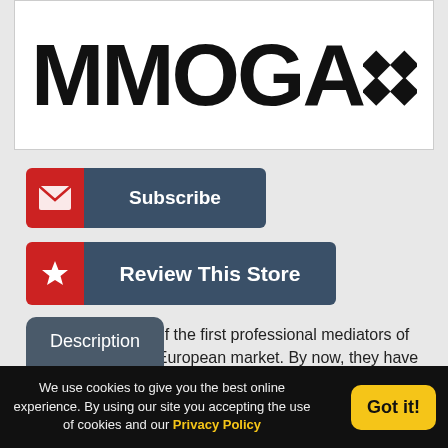[Figure (logo): MMOGA logo with bold black text 'MMOGA' and a diamond pattern icon on the right, on white background]
[Figure (infographic): Subscribe button with red envelope icon on left and dark blue-gray label 'Subscribe' on right]
[Figure (infographic): Review This Store button with red star icon on left and dark blue-gray label 'Review This Store' on right]
MMOGA was one of the first professional mediators of online gold on the European market. By now, they have more than 8 years of...read more
Description
We use cookies to give you the best online experience. By using our site you accepting the use of cookies and our Privacy Policy